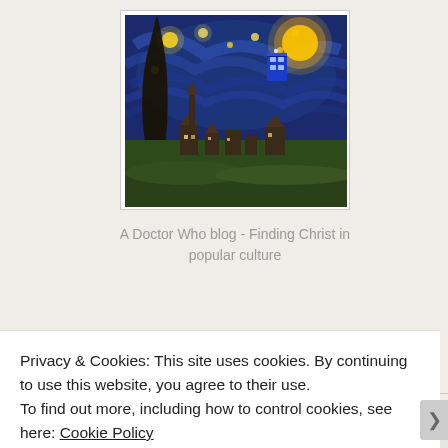[Figure (illustration): Van Gogh Starry Night painting with a TARDIS (blue police box from Doctor Who) edited into the upper right sky area. Swirling blue and yellow night sky with a village below and a dark cypress tree on the left.]
A Doctor Who blog - Finding Christ in popular culture
Blogs I Follow
Kh...b...le Words, Words, Words
Privacy & Cookies: This site uses cookies. By continuing to use this website, you agree to their use.
To find out more, including how to control cookies, see here: Cookie Policy
Close and accept